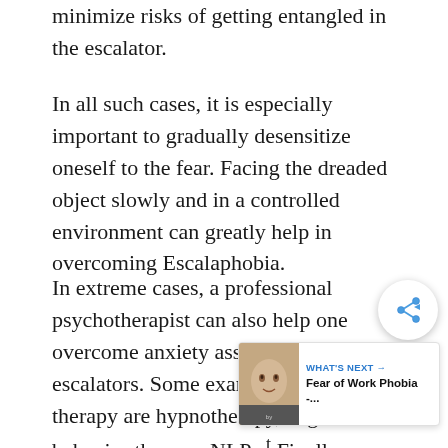minimize risks of getting entangled in the escalator.
In all such cases, it is especially important to gradually desensitize oneself to the fear. Facing the dreaded object slowly and in a controlled environment can greatly help in overcoming Escalaphobia.
In extreme cases, a professional psychotherapist can also help one overcome anxiety associated with escalators. Some examples of such therapy are hypnotherapy, cognitive behavior therapy, NLP et Finally, one must also read up all one can about statistics related to escalators. This can phobic in a better position to overcome Escalaphobia by helping him understand for a fact